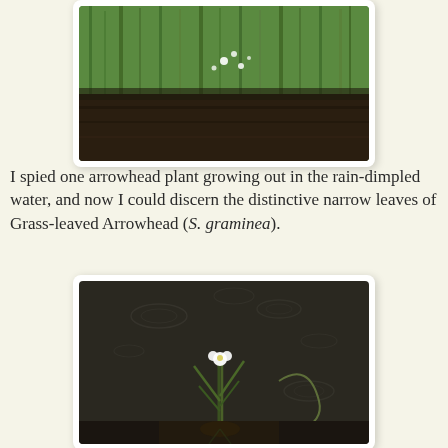[Figure (photo): Photograph of grassy wetland edge with small white arrowhead flowers visible among green grass blades and muddy ground]
I spied one arrowhead plant growing out in the rain-dimpled water, and now I could discern the distinctive narrow leaves of Grass-leaved Arrowhead (S. graminea).
[Figure (photo): Close-up photograph of a single Grass-leaved Arrowhead (S. graminea) plant with white flower and narrow leaves growing in rain-dimpled muddy water]